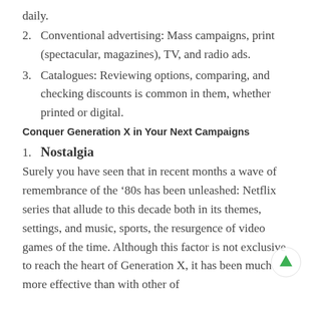daily.
2. Conventional advertising: Mass campaigns, print (spectacular, magazines), TV, and radio ads.
3. Catalogues: Reviewing options, comparing, and checking discounts is common in them, whether printed or digital.
Conquer Generation X in Your Next Campaigns
1. Nostalgia
Surely you have seen that in recent months a wave of remembrance of the ‘80s has been unleashed: Netflix series that allude to this decade both in its themes, settings, and music, sports, the resurgence of video games of the time. Although this factor is not exclusive to reach the heart of Generation X, it has been much more effective than with other of